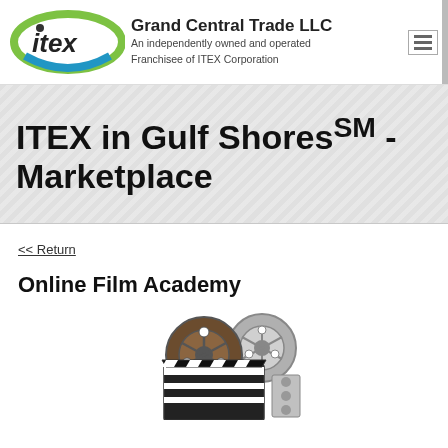Grand Central Trade LLC
An independently owned and operated
Franchisee of ITEX Corporation
ITEX in Gulf Shores℠ - Marketplace
<< Return
Online Film Academy
[Figure (photo): Film reels and clapperboard illustration representing an online film academy]